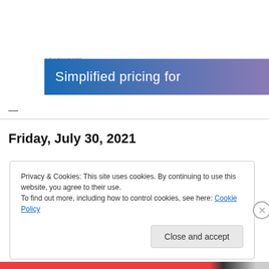Advertisements
[Figure (screenshot): Blue to purple gradient advertisement banner with white text reading 'Simplified pricing for']
—
Friday, July 30, 2021
Privacy & Cookies: This site uses cookies. By continuing to use this website, you agree to their use.
To find out more, including how to control cookies, see here: Cookie Policy
Close and accept